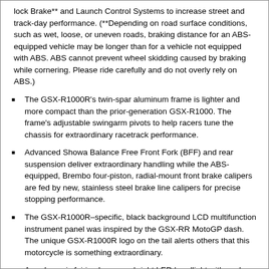lock Brake** and Launch Control Systems to increase street and track-day performance. (**Depending on road surface conditions, such as wet, loose, or uneven roads, braking distance for an ABS-equipped vehicle may be longer than for a vehicle not equipped with ABS. ABS cannot prevent wheel skidding caused by braking while cornering. Please ride carefully and do not overly rely on ABS.)
The GSX-R1000R's twin-spar aluminum frame is lighter and more compact than the prior-generation GSX-R1000. The frame's adjustable swingarm pivots to help racers tune the chassis for extraordinary racetrack performance.
Advanced Showa Balance Free Front Fork (BFF) and rear suspension deliver extraordinary handling while the ABS-equipped, Brembo four-piston, radial-mount front brake calipers are fed by new, stainless steel brake line calipers for precise stopping performance.
The GSX-R1000R–specific, black background LCD multifunction instrument panel was inspired by the GSX-RR MotoGP dash. The unique GSX-R1000R logo on the tail alerts others that this motorcycle is something extraordinary.
Aerodynamic fairing houses a bright LED headlight with eyebrow